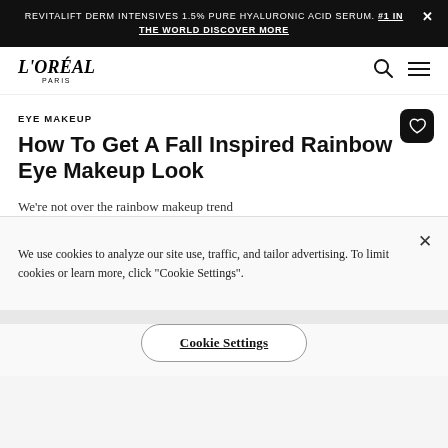REVITALIFT DERM INTENSIVES 1.5% PURE HYALURONIC ACID SERUM. #1 IN THE WORLD DISCOVER MORE
[Figure (logo): L'Oréal Paris logo in stylized italic serif font]
EYE MAKEUP
How To Get A Fall Inspired Rainbow Eye Makeup Look
We're not over the rainbow makeup trend
We use cookies to analyze our site use, traffic, and tailor advertising. To limit cookies or learn more, click "Cookie Settings".
Cookie Settings